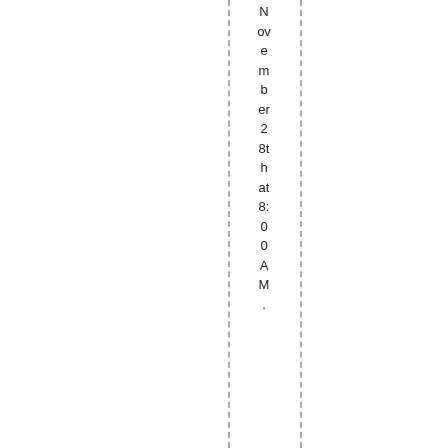November 28th at 8:00AM .
November 22n